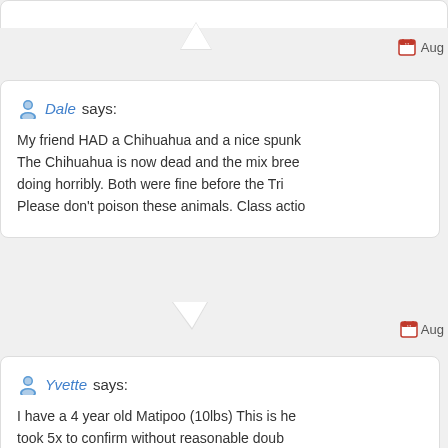Aug [timestamp - cropped]
Dale says:
My friend HAD a Chihuahua and a nice spunk... The Chihuahua is now dead and the mix bree... doing horribly. Both were fine before the Tri... Please don't poison these animals. Class actio...
Aug [timestamp - cropped]
Yvette says:
I have a 4 year old Matipoo (10lbs) This is he... took 5x to confirm without reasonable doub... medication. Last month when we gave it to H... coming so we thought she was acting strange... paranoid and on an acid trip! Se won't eat or... of food kicking her stomach...